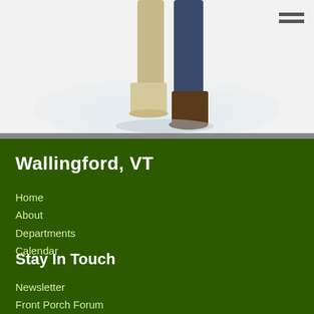[Figure (photo): Lower half of a person's legs and feet walking, wearing light-colored pants, boots. Light blue/white background suggesting snow or a winter scene.]
Wallingford, VT
Home
About
Departments
Calendar
Stay In Touch
Newsletter
Front Porch Forum